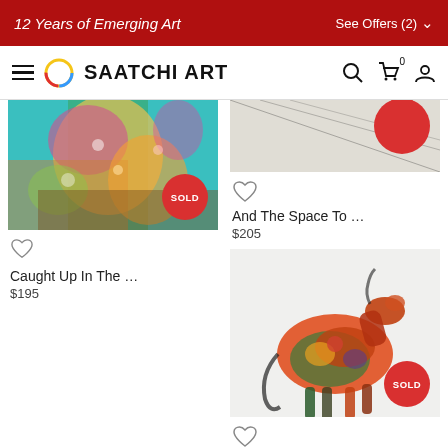12 Years of Emerging Art — See Offers (2)
SAATCHI ART navigation bar
[Figure (photo): Floral collage artwork with SOLD badge, colorful fabric patterns on teal background]
Caught Up In The …
$195
[Figure (photo): Partial artwork showing patterned black and white with orange/red circular element at top right]
And The Space To …
$205
[Figure (photo): Portrait illustration of a woman with black bob hair, purple tones, patterned clothing, partially visible]
[Figure (photo): Colorful horse collage artwork with SOLD badge on light grey background]
Hermes Horse